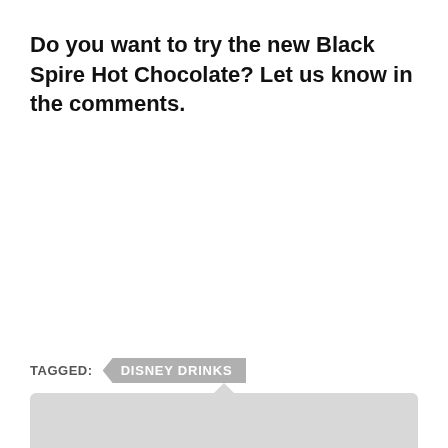Do you want to try the new Black Spire Hot Chocolate? Let us know in the comments.
TAGGED:  DISNEY DRINKS